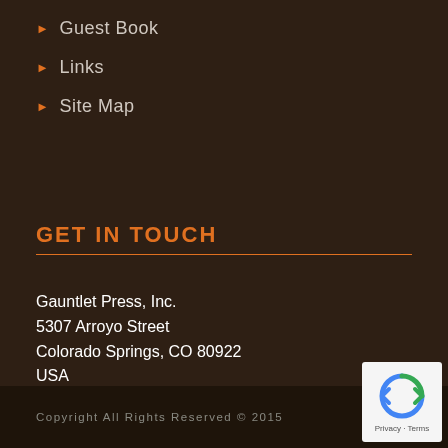Guest Book
Links
Site Map
GET IN TOUCH
Gauntlet Press, Inc.
5307 Arroyo Street
Colorado Springs, CO 80922
USA
Telephone : (719) 591-5566
(after 10am Mountain Time)
Email: gauntlet66@aol.com
Copyright All Rights Reserved © 2015